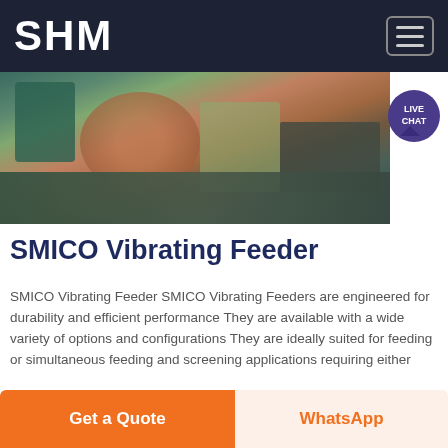SHM
[Figure (photo): Industrial vibrating feeder machinery — heavy equipment with gears, motors, and conveyor components in a workshop setting]
SMICO Vibrating Feeder
SMICO Vibrating Feeder SMICO Vibrating Feeders are engineered for durability and efficient performance They are available with a wide variety of options and configurations They are ideally suited for feeding or simultaneous feeding and screening applications requiring either
Chat Online
[Figure (photo): Partial view of industrial facility interior — bottom strip of image showing warehouse or factory floor]
Get a Quote
WhatsApp